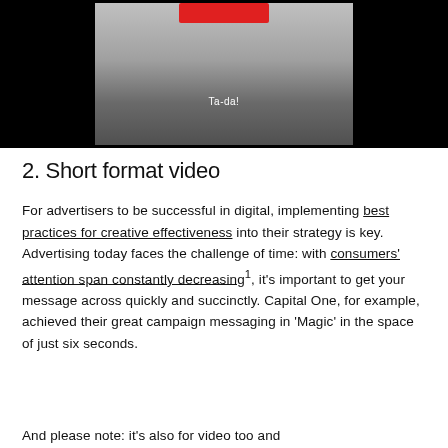[Figure (screenshot): Video still showing a person standing in front of a grey background. The person is wearing dark trousers and a top with a red element. The text 'Ta-da!' appears in white on the lower center of the video frame. The video player has a black border around it.]
2. Short format video
For advertisers to be successful in digital, implementing best practices for creative effectiveness into their strategy is key. Advertising today faces the challenge of time: with consumers' attention span constantly decreasing¹, it's important to get your message across quickly and succinctly. Capital One, for example, achieved their great campaign messaging in 'Magic' in the space of just six seconds.
And please note: it's also for video too and